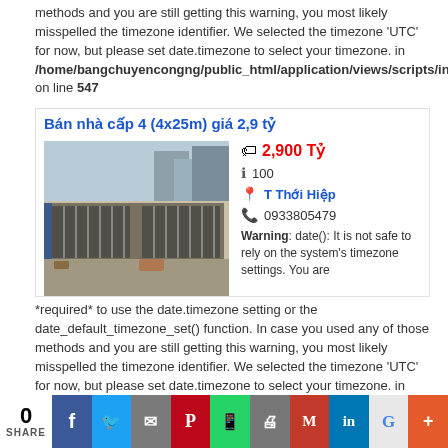methods and you are still getting this warning, you most likely misspelled the timezone identifier. We selected the timezone 'UTC' for now, but please set date.timezone to select your timezone. in /home/bangchuyencongng/public_html/application/views/scripts/index/load on line 547
Bán nhà cấp 4 (4x25m) giá 2,9 tỷ
[Figure (photo): Photo of a house/building with a metal gate, street view]
2,900 Tỷ
100
T Thới Hiệp
0933805479
Warning: date(): It is not safe to rely on the system's timezone settings. You are *required* to use the date.timezone setting or the date_default_timezone_set() function. In case you used any of those methods and you are still getting this warning, you most likely misspelled the timezone identifier. We selected the timezone 'UTC' for now, but please set date.timezone to select your timezone. in /home/bangchuyencongng/public_html/application/views/scripts/index/load on line 547
0 SHARE | Facebook | Twitter | Email | Pinterest | WhatsApp | Print | Gmail | LinkedIn | Google+ | More